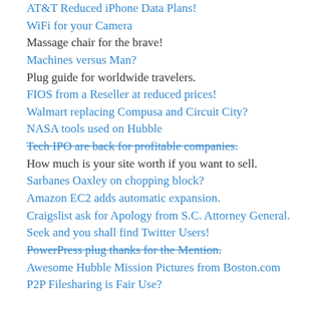AT&T Reduced iPhone Data Plans!
WiFi for your Camera
Massage chair for the brave!
Machines versus Man?
Plug guide for worldwide travelers.
FIOS from a Reseller at reduced prices!
Walmart replacing Compusa and Circuit City?
NASA tools used on Hubble
Tech IPO are back for profitable companies.
How much is your site worth if you want to sell.
Sarbanes Oaxley on chopping block?
Amazon EC2 adds automatic expansion.
Craigslist ask for Apology from S.C. Attorney General.
Seek and you shall find Twitter Users!
PowerPress plug thanks for the Mention.
Awesome Hubble Mission Pictures from Boston.com
P2P Filesharing is Fair Use?